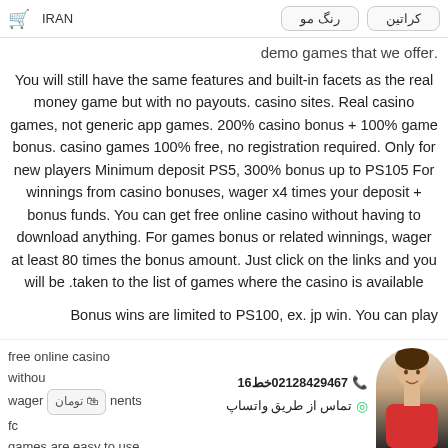IRAN | رنگ مو | کراتین
.demo games that we offer
You will still have the same features and built-in facets as the real money game but with no payouts. casino sites. Real casino games, not generic app games. 200% casino bonus + 100% game bonus. casino games 100% free, no registration required. Only for new players Minimum deposit PS5, 300% bonus up to PS105 For winnings from casino bonuses, wager x4 times your deposit + bonus funds. You can get free online casino without having to download anything. For games bonus or related winnings, wager at least 80 times the bonus amount. Just click on the links and you will be taken to the list of games where the casino is available.
Bonus wins are limited to PS100, ex. jp win. You can play free online casino withou… wager… ments fc… games are easy to use or
02128429467 خط 16 | تماس از طریق واتساپ